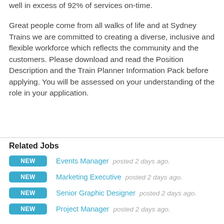well in excess of 92% of services on-time.
Great people come from all walks of life and at Sydney Trains we are committed to creating a diverse, inclusive and flexible workforce which reflects the community and the customers. Please download and read the Position Description and the Train Planner Information Pack before applying. You will be assessed on your understanding of the role in your application.
Related Jobs
NEW  Events Manager  posted 2 days ago.
NEW  Marketing Executive  posted 2 days ago.
NEW  Senior Graphic Designer  posted 2 days ago.
NEW  Project Manager  posted 2 days ago.